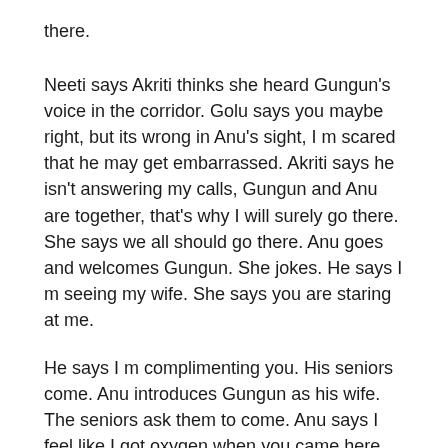there.
Neeti says Akriti thinks she heard Gungun's voice in the corridor. Golu says you maybe right, but its wrong in Anu's sight, I m scared that he may get embarrassed. Akriti says he isn't answering my calls, Gungun and Anu are together, that's why I will surely go there. She says we all should go there. Anu goes and welcomes Gungun. She jokes. He says I m seeing my wife. She says you are staring at me.
He says I m complimenting you. His seniors come. Anu introduces Gungun as his wife. The seniors ask them to come. Anu says I feel like I got oxygen when you came here. She laughs. He says I didn't joke. She jokes.
She stumbles. He holds her. He says you look more pretty when you laugh. She says this laugh is just for tonight, we